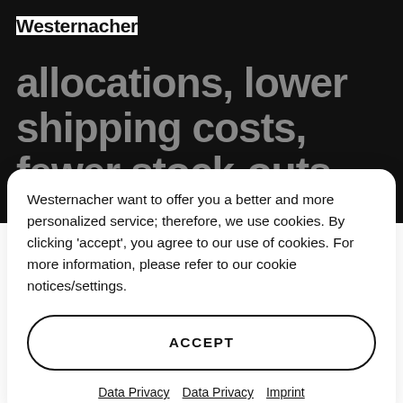Westernacher
allocations, lower shipping costs, fewer stock-outs, reduced
Westernacher want to offer you a better and more personalized service; therefore, we use cookies. By clicking 'accept', you agree to our use of cookies. For more information, please refer to our cookie notices/settings.
ACCEPT
Data Privacy   Data Privacy   Imprint